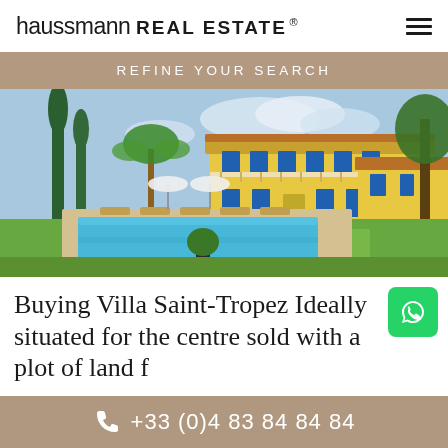haussmann REAL ESTATE ®
REFINE YOUR SEARCH
[Figure (photo): Luxury villa in Saint-Tropez with a large swimming pool, sun loungers, umbrellas, lush green lawn, tall cypress trees, palm trees, and a yellow Provençal-style main house with blue shutters and balcony.]
Buying Villa Saint-Tropez Ideally situated for the centre sold with a plot of land f…
+33 (0)4 83 84 84 84